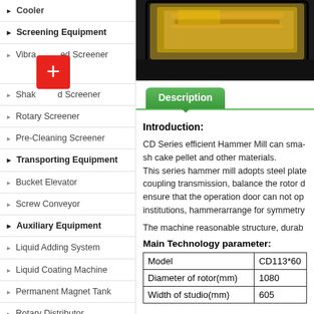Cooler
Screening Equipment
Vibrating Screen Screener
Shaking Screen Screener
Rotary Screener
Pre-Cleaning Screener
Transporting Equipment
Bucket Elevator
Screw Conveyor
Auxiliary Equipment
Liquid Adding System
Liquid Coating Machine
Permanent Magnet Tank
Rotary Distributor
Packing Machine
Feed Pellet Production Line
Related Machinery & Parts
[Figure (photo): CD Series Hammer Mill product photo showing gold/brass colored machinery on black background]
Description
Introduction:
CD Series efficient Hammer Mill can smash cake pellet and other materials. This series hammer mill adopts steel plate coupling transmission, balance the rotor d ensure that the operation door can not op institutions, hammerarrange for symmetry
The machine reasonable structure, durab
Main Technology parameter:
| Model | CD113*60 |
| --- | --- |
| Diameter of rotor(mm) | 1080 |
| Width of studio(mm) | 605 |